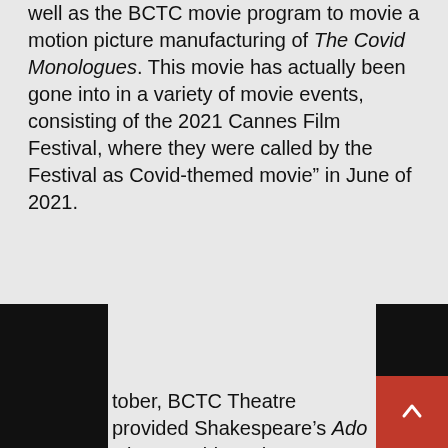well as the BCTC movie program to movie a motion picture manufacturing of The Covid Monologues. This movie has actually been gone into in a variety of movie events, consisting of the 2021 Cannes Film Festival, where they were called by the Festival as Covid-themed movie” in June of 2021.
tober, BCTC Theatre provided Shakespeare’s Ado About Nothing. The manufacturing was t to be organized at the Winchester university itheater, with an online target market. As a result ne Covid-related problems, that efficiency has lly been held off to Spring of ‘22.
With the aid of the BCTC movie people once more, they shot the manufacturing and also streamed it over YouTube. Their last manufacturing for Fall ‘21 was streamed in December, a devised/documentary